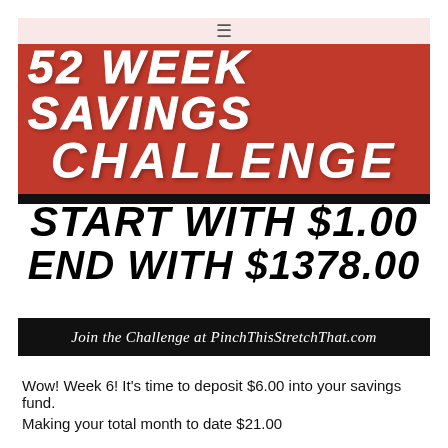52 WEEK SAVINGS CHALLENGE
START WITH $1.00
END WITH $1378.00
Join the Challenge at PinchThisStretchThat.com
Wow!  Week 6!  It's time to deposit $6.00 into your savings fund.
Making your total month to date $21.00